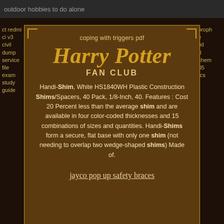outdoor hobbies to do alone
redmi ct
ci v3
civil
dump
service
file
exam
study
guide
chloroph
yale
liquid
fork1
dischem
gtc05
specs
coping with triggers pdf
Harry Potter
FAN CLUB
Handi-Shim, White HS1840WH Plastic Construction Shims/Spacers, 40 Pack, 1/8-Inch, 40. Features : Cost 20 Percent less than the average shim and are available in four color-coded thicknesses and 15 combinations of sizes and quantities. Handi-Shims form a secure, flat base with only one shim (not needing to overlap two wedge-shaped shims) Made of.
jayco pop up safety braces
nano85
rtings
9dpo burning cramps
sagittari
celebritie
in
bollywoo